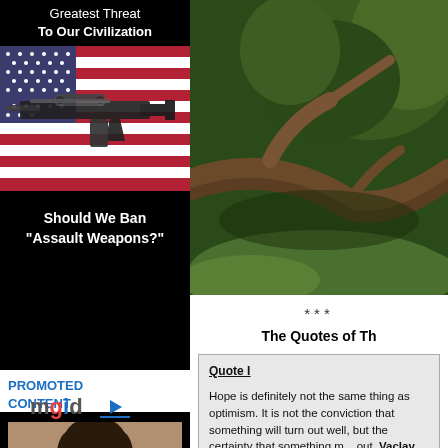Greatest Threat To Our Civilization
[Figure (photo): Assault rifle on American flag background]
Should We Ban "Assault Weapons?"
PROMOTED CONTENT
[Figure (logo): mgid logo with arrow]
[Figure (photo): Woman with dark hair, Hollywood actress]
These Popular Hollywood Stars Got Their Start On Soap
[Figure (photo): Nature scene with fallen tree branches and grass]
***
The Quotes of Th
Quote I
Hope is definitely not the same thing as optimism. It is not the conviction that something will turn out well, but the certainty that something m... out. Vaclav Havel
*